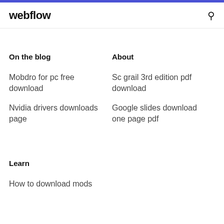webflow
On the blog
About
Mobdro for pc free download
Sc grail 3rd edition pdf download
Nvidia drivers downloads page
Google slides download one page pdf
Learn
How to download mods